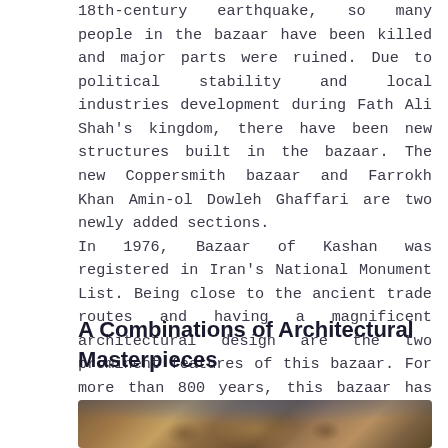18th-century earthquake, so many people in the bazaar have been killed and major parts were ruined. Due to political stability and local industries development during Fath Ali Shah's kingdom, there have been new structures built in the bazaar. The new Coppersmith bazaar and Farrokh Khan Amin-ol Dowleh Ghaffari are two newly added sections.
In 1976, Bazaar of Kashan was registered in Iran's National Monument List. Being close to the ancient trade routes and having a magnificent architectural design are the two prominent features of this bazaar. For more than 800 years, this bazaar has been a center of trade.
A Combinations of Architectural Masterpieces
[Figure (photo): Interior photo of the Bazaar of Kashan showing ornate architectural details, tiled ceiling and goods/items in the bazaar]